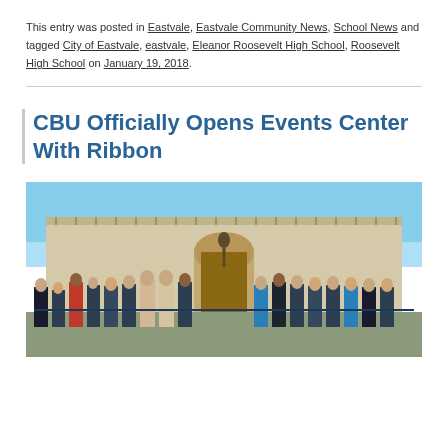This entry was posted in Eastvale, Eastvale Community News, School News and tagged City of Eastvale, eastvale, Eleanor Roosevelt High School, Roosevelt High School on January 19, 2018.
CBU Officially Opens Events Center With Ribbon
[Figure (photo): Group of approximately 15 people standing in front of a beige/tan colored building with a pergola roof structure and arched entrance. A statue or sculpture is visible behind the group. The attendees are dressed in formal business attire. This appears to be a ribbon-cutting ceremony for the CBU Events Center.]